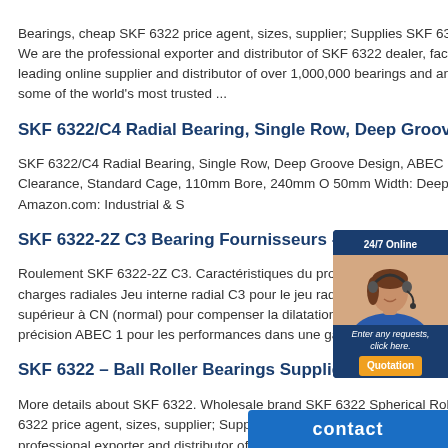Bearings, cheap SKF 6322 price agent, sizes, supplier; Supplies SKF 6322 ball bearings trader; We are the professional exporter and distributor of SKF 6322 dealer, factory, cost.. Bearing a is a leading online supplier and distributor of over 1,000,000 bearings and ancillary products, from some of the world's most trusted ...
SKF 6322/C4 Radial Bearing, Single Row, Deep Groove Design
SKF 6322/C4 Radial Bearing, Single Row, Deep Groove Design, ABEC Precision, Open, C4 Clearance, Standard Cage, 110mm Bore, 240mm O 50mm Width: Deep Groove Ball Bearings: Amazon.com: Industrial & S
SKF 6322-2Z C3 Bearing Fournisseurs - Prix de gros SKF
Roulement SKF 6322-2Z C3. Caractéristiques du produit Roulement à rangée pour supporter les charges radiales Jeu interne radial C3 pour le jeu radial entre les bagues intérieure et extérieure supérieur à CN (normal) pour compenser la dilatation thermique Conforme à la norme de précision ABEC 1 pour les performances dans une gamme étroite de. ...
SKF 6322 – Ball Roller Bearings Supplier
More details about SKF 6322. Wholesale brand SKF 6322 Spherical Roller Bearings, cheap SKF 6322 price agent, sizes, supplier; Supplies SKF 6322 ball bearings trader; We are the professional exporter and distributor of SKF 6322 dealer, factory, cost.. Bearing a is a leading online supplier and distributor of
[Figure (photo): Customer service representative chat widget with '24/7 Online' label and photo of woman with headset, with italic text 'Enter any requests, click here.' and orange 'Quotation' button]
[Figure (other): Blue 'contact' button/bar in bottom right corner]